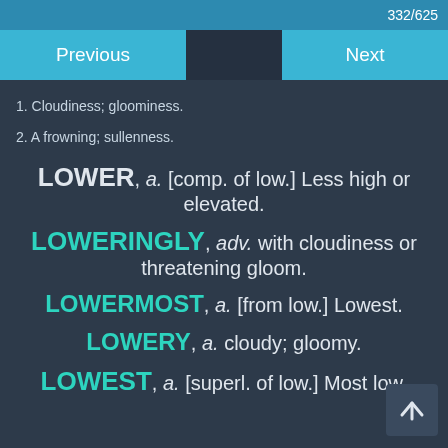332/625
Previous | Next
1. Cloudiness; gloominess.
2. A frowning; sullenness.
LOWER, a. [comp. of low.] Less high or elevated.
LOWERINGLY, adv. with cloudiness or threatening gloom.
LOWERMOST, a. [from low.] Lowest.
LOWERY, a. cloudy; gloomy.
LOWEST, a. [superl. of low.] Most low,